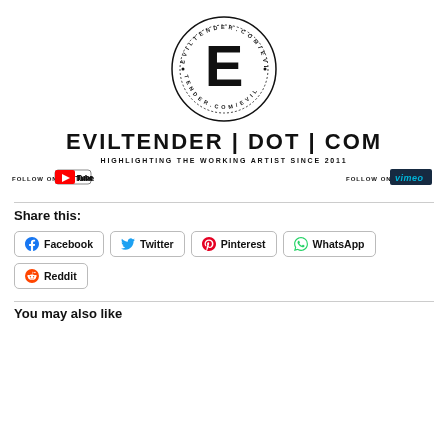[Figure (logo): EvilTender.com circular stamp logo with large E in center and text around the ring]
EVILTENDER | DOT | COM
HIGHLIGHTING THE WORKING ARTIST SINCE 2011
[Figure (logo): Follow on YouTube logo button]
[Figure (logo): Follow on Vimeo logo button]
Share this:
Facebook
Twitter
Pinterest
WhatsApp
Reddit
You may also like